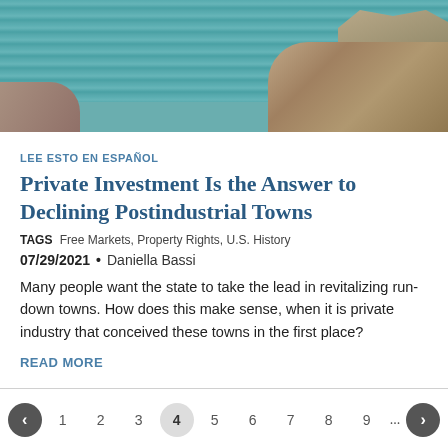[Figure (photo): Aerial/landscape photo of a river or creek with turquoise-green water, rocky banks, and dry scrub vegetation on the right side.]
LEE ESTO EN ESPAÑOL
Private Investment Is the Answer to Declining Postindustrial Towns
TAGS  Free Markets, Property Rights, U.S. History
07/29/2021 • Daniella Bassi
Many people want the state to take the lead in revitalizing run-down towns. How does this make sense, when it is private industry that conceived these towns in the first place?
READ MORE
1 2 3 4 5 6 7 8 9 ...